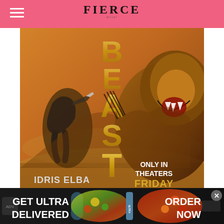[Figure (photo): Movie poster for 'Beast' starring Idris Elba. Shows a man crouching with a knife facing a roaring lion. Golden vertical letters spell BEAST. Text reads: IDRIS ELBA, ONLY IN THEATERS FRIDAY. FIERCE logo at top.]
[Figure (photo): Bottom advertisement banner: GET ULTRA DELIVERED - ORDER NOW, showing food and beverage imagery on dark background with a close button X.]